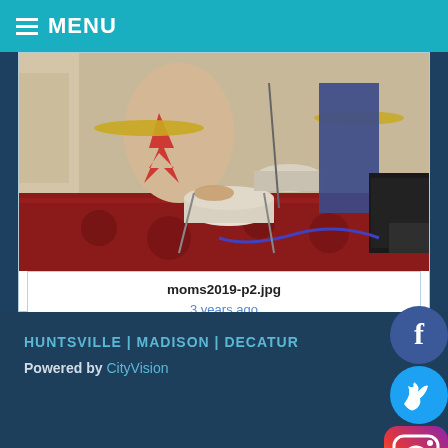MENU
[Figure (photo): Photo of musicians playing drums and other instruments at an event, with red patterned carpet visible on the floor. Multiple people are visible including a drummer in foreground.]
moms2019-p2.jpg
3 years ago
Showing 3 results
HUNTSVILLE | MADISON | DECATUR
Powered by CityVision